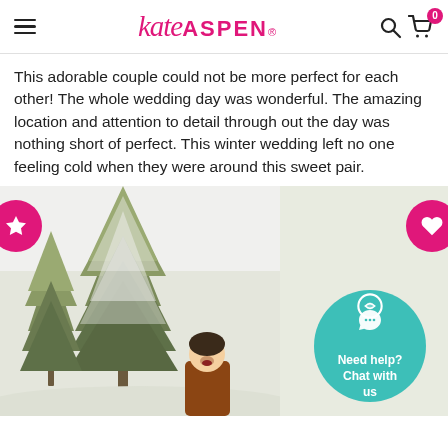Kate ASPEN®
This adorable couple could not be more perfect for each other! The whole wedding day was wonderful. The amazing location and attention to detail through out the day was nothing short of perfect. This winter wedding left no one feeling cold when they were around this sweet pair.
[Figure (photo): Winter outdoor photo with snow-covered evergreen trees and a person partially visible at the bottom. Two pink circular badge buttons on left (star) and right (heart). A teal circular chat button at bottom right with WhatsApp icon and text 'Need help? Chat with us'.]